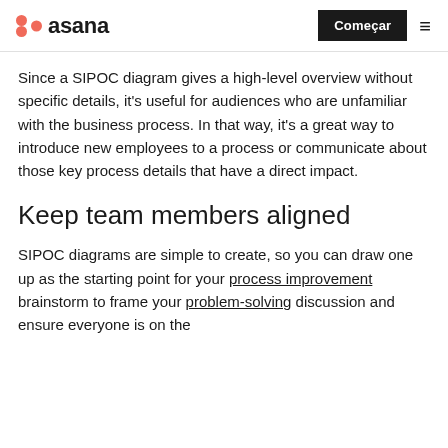asana | Começar
Since a SIPOC diagram gives a high-level overview without specific details, it's useful for audiences who are unfamiliar with the business process. In that way, it's a great way to introduce new employees to a process or communicate about those key process details that have a direct impact.
Keep team members aligned
SIPOC diagrams are simple to create, so you can draw one up as the starting point for your process improvement brainstorm to frame your problem-solving discussion and ensure everyone is on the